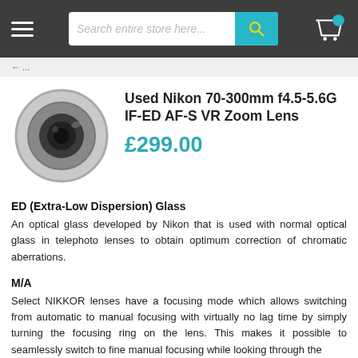Search entire store here...
Used Nikon 70-300mm f4.5-5.6G IF-ED AF-S VR Zoom Lens
£299.00
ED (Extra-Low Dispersion) Glass
An optical glass developed by Nikon that is used with normal optical glass in telephoto lenses to obtain optimum correction of chromatic aberrations.
M/A
Select NIKKOR lenses have a focusing mode which allows switching from automatic to manual focusing with virtually no lag time by simply turning the focusing ring on the lens. This makes it possible to seamlessly switch to fine manual focusing while looking through the